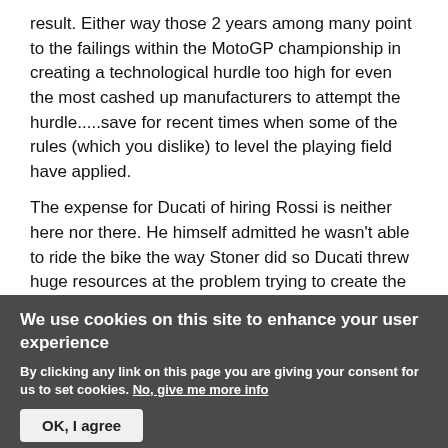result. Either way those 2 years among many point to the failings within the MotoGP championship in creating a technological hurdle too high for even the most cashed up manufacturers to attempt the hurdle.....save for recent times when some of the rules (which you dislike) to level the playing field have applied.
The expense for Ducati of hiring Rossi is neither here nor there. He himself admitted he wasn't able to ride the bike the way Stoner did so Ducati threw huge resources at the problem trying to create the bike Rossi wanted.....all the while hamstrung by a stressed
We use cookies on this site to enhance your user experience
By clicking any link on this page you are giving your consent for us to set cookies. No, give me more info